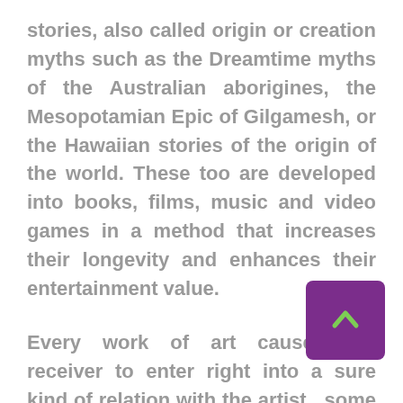stories, also called origin or creation myths such as the Dreamtime myths of the Australian aborigines, the Mesopotamian Epic of Gilgamesh, or the Hawaiian stories of the origin of the world. These too are developed into books, films, music and video games in a method that increases their longevity and enhances their entertainment value.
Every work of art causes the receiver to enter right into a sure kind of relation with the artist , some with nice effort to picture exactly what the artist is trying to say. If this seems impossible then a